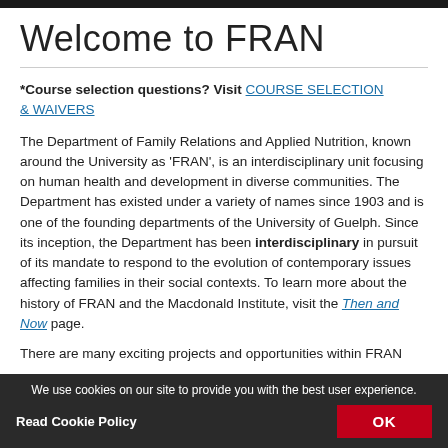Welcome to FRAN
*Course selection questions? Visit COURSE SELECTION & WAIVERS
The Department of Family Relations and Applied Nutrition, known around the University as 'FRAN', is an interdisciplinary unit focusing on human health and development in diverse communities. The Department has existed under a variety of names since 1903 and is one of the founding departments of the University of Guelph. Since its inception, the Department has been interdisciplinary in pursuit of its mandate to respond to the evolution of contemporary issues affecting families in their social contexts. To learn more about the history of FRAN and the Macdonald Institute, visit the Then and Now page.
There are many exciting projects and opportunities within FRAN
We use cookies on our site to provide you with the best user experience.
Read Cookie Policy
OK